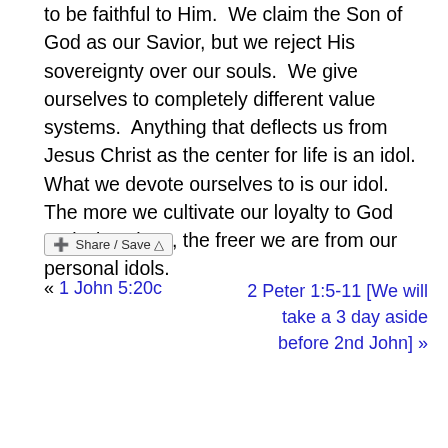to be faithful to Him.  We claim the Son of God as our Savior, but we reject His sovereignty over our souls.  We give ourselves to completely different value systems.  Anything that deflects us from Jesus Christ as the center for life is an idol.  What we devote ourselves to is our idol.  The more we cultivate our loyalty to God and His values, the freer we are from our personal idols.
[Figure (other): Share / Save button widget]
« 1 John 5:20c
2 Peter 1:5-11 [We will take a 3 day aside before 2nd John] »